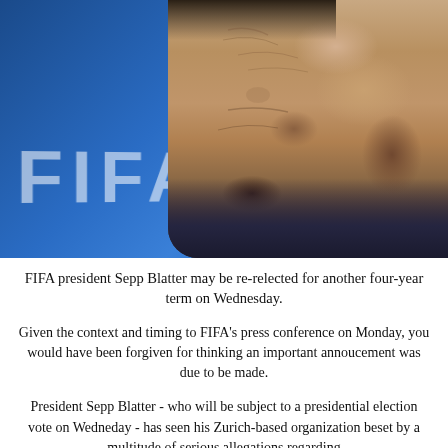[Figure (photo): Close-up photo of FIFA president Sepp Blatter in front of a blurred blue FIFA backdrop with the FIFA logo visible in white letters.]
FIFA president Sepp Blatter may be re-relected for another four-year term on Wednesday.
Given the context and timing to FIFA's press conference on Monday, you would have been forgiven for thinking an important annoucement was due to be made.
President Sepp Blatter - who will be subject to a presidential election vote on Wedneday - has seen his Zurich-based organization beset by a multitude of serious allegations regarding